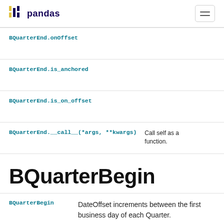pandas
| Method | Description |
| --- | --- |
| BQuarterEnd.onOffset |  |
| BQuarterEnd.is_anchored |  |
| BQuarterEnd.is_on_offset |  |
| BQuarterEnd.__call__(*args, **kwargs) | Call self as a function. |
BQuarterBegin
| Method | Description |
| --- | --- |
| BQuarterBegin | DateOffset increments between the first business day of each Quarter. |